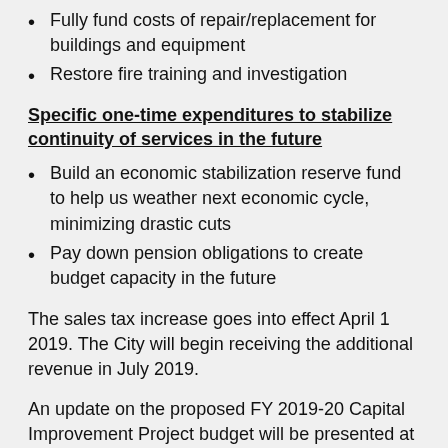Fully fund costs of repair/replacement for buildings and equipment
Restore fire training and investigation
Specific one-time expenditures to stabilize continuity of services in the future
Build an economic stabilization reserve fund to help us weather next economic cycle, minimizing drastic cuts
Pay down pension obligations to create budget capacity in the future
The sales tax increase goes into effect April 1 2019. The City will begin receiving the additional revenue in July 2019.
An update on the proposed FY 2019-20 Capital Improvement Project budget will be presented at the regular April 17 City Council meeting.
The City will release the full proposed FY 2019-20